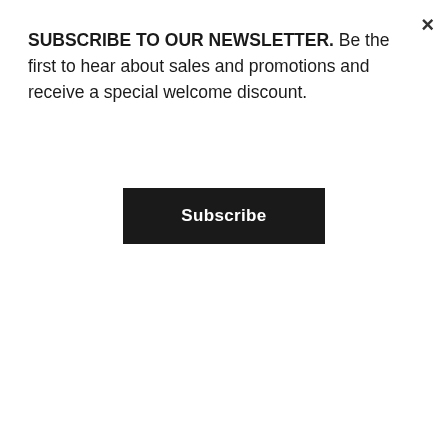SUBSCRIBE TO OUR NEWSLETTER. Be the first to hear about sales and promotions and receive a special welcome discount.
Subscribe
Geez it's hard to find a great pair of shorts that are not too short, not too long, comfy, pass the play test and last the test of time (and wear)
We've ticked all the boxes with our new cuffed shorts! And can we please just take a moment to marvel at the colour. Lush!
Made from the softest cotton (with a touch of spandex, high fives for clothes that snaps straight back into shape) our mid length, slim cut, elastic waist short will be on high rotation.